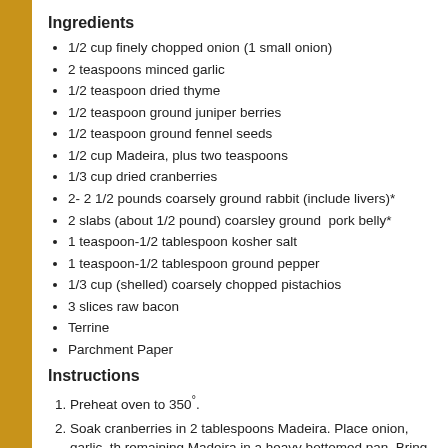Ingredients
1/2 cup finely chopped onion (1 small onion)
2 teaspoons minced garlic
1/2 teaspoon dried thyme
1/2 teaspoon ground juniper berries
1/2 teaspoon ground fennel seeds
1/2 cup Madeira, plus two teaspoons
1/3 cup dried cranberries
2- 2 1/2 pounds coarsely ground rabbit (include livers)*
2 slabs (about 1/2 pound) coarsley ground  pork belly*
1 teaspoon-1/2 tablespoon kosher salt
1 teaspoon-1/2 tablespoon ground pepper
1/3 cup (shelled) coarsely chopped pistachios
3 slices raw bacon
Terrine
Parchment Paper
Instructions
Preheat oven to 350°.
Soak cranberries in 2 tablespoons Madeira. Place onion, garlic, th remaining Madeira in a heavy bottomed pan. Bring to a boil and c absorbed. Let cool.
Combine rabbit and pork belly. Sprinkle 1 teaspoon of kosher salt thoroughly combine. Fry a pinch in a sauté pan and taste. Add ad